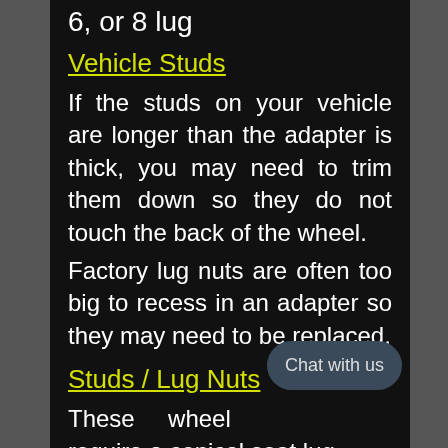6, or 8 lug
Vehicle Studs
If the studs on your vehicle are longer than the adapter is thick, you may need to trim them down so they do not touch the back of the wheel.
Factory lug nuts are often too big to recess in an adapter so they may need to be replaced.
Studs / Lug Nuts
These wheel require a conical seat lug nut or bolt.